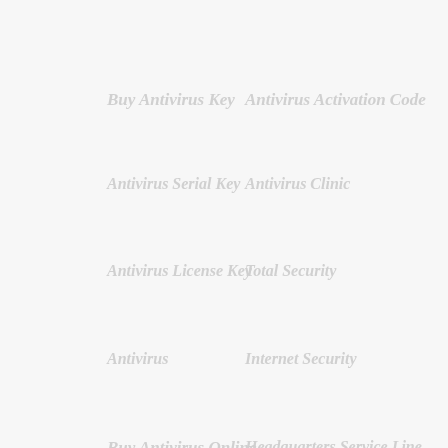Buy Antivirus Key
Antivirus Activation Code
Antivirus Serial Key
Antivirus Clinic
Antivirus License Key
Total Security
Antivirus
Internet Security
Buy Antivirus Online
Headquarters Service Line
Antivirus Security
Other Antivirus
Renew Antivirus
Online Antivirus Warranty